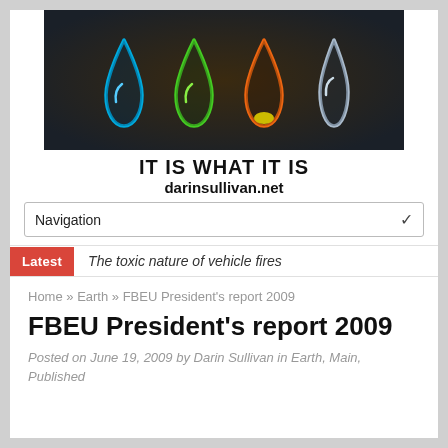[Figure (logo): Dark background banner with four stylized drop/leaf icons in blue, green, orange, and silver/white colors]
IT IS WHAT IT IS
darinsullivan.net
Navigation
Latest   The toxic nature of vehicle fires
Home » Earth » FBEU President's report 2009
FBEU President's report 2009
Posted on June 19, 2009 by Darin Sullivan in Earth, Main, Published